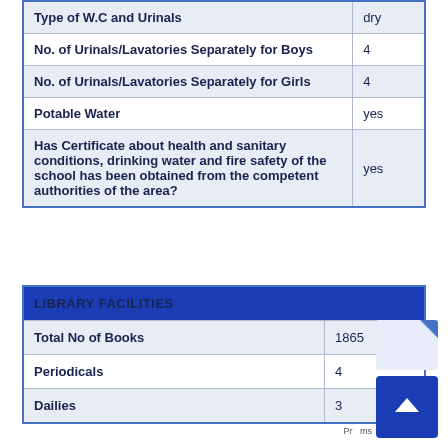|  |  |
| --- | --- |
| Type of W.C and Urinals | dry |
| No. of Urinals/Lavatories Separately for Boys | 4 |
| No. of Urinals/Lavatories Separately for Girls | 4 |
| Potable Water | yes |
| Has Certificate about health and sanitary conditions, drinking water and fire safety of the school has been obtained from the competent authorities of the area? | yes |
| LIBRARY FACILITIES |  |
| --- | --- |
| Total No of Books | 1865 |
| Periodicals | 4 |
| Dailies | 3 |